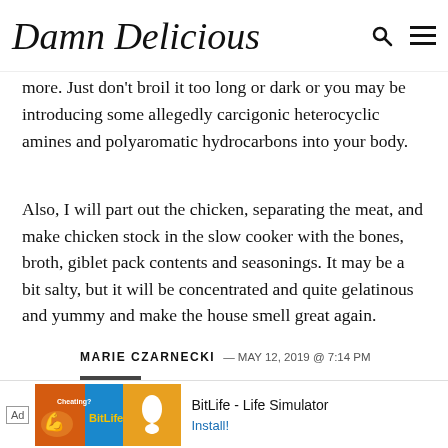Damn Delicious
more. Just don't broil it too long or dark or you may be introducing some allegedly carcigonic heterocyclic amines and polyaromatic hydrocarbons into your body.
Also, I will part out the chicken, separating the meat, and make chicken stock in the slow cooker with the bones, broth, giblet pack contents and seasonings. It may be a bit salty, but it will be concentrated and quite gelatinous and yummy and make the house smell great again.
MARIE CZARNECKI — MAY 12, 2019 @ 7:14 PM
REPLY
[Figure (screenshot): Advertisement banner for BitLife - Life Simulator app with Install button]